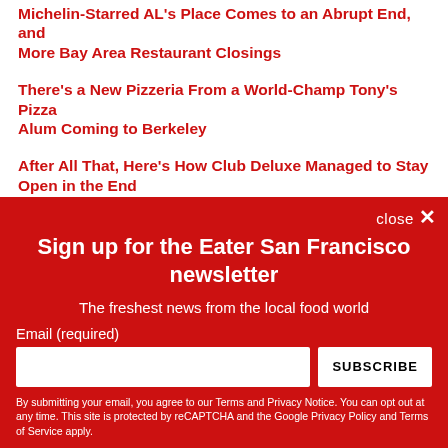Michelin-Starred AL's Place Comes to an Abrupt End, and More Bay Area Restaurant Closings
There's a New Pizzeria From a World-Champ Tony's Pizza Alum Coming to Berkeley
After All That, Here's How Club Deluxe Managed to Stay Open in the End
Rooftop Restaurant and Insta-Famous Coffee Arrive in Mid-
Sign up for the Eater San Francisco newsletter
The freshest news from the local food world
Email (required)
SUBSCRIBE
By submitting your email, you agree to our Terms and Privacy Notice. You can opt out at any time. This site is protected by reCAPTCHA and the Google Privacy Policy and Terms of Service apply.